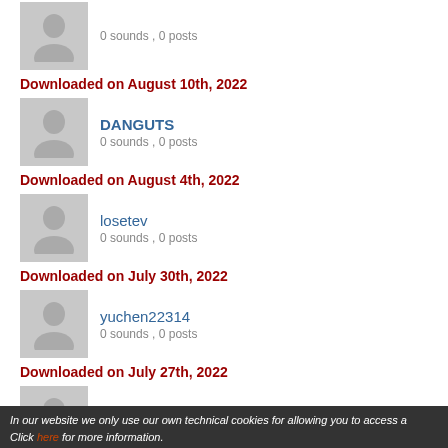[Figure (photo): Grey placeholder avatar icon at top (partial)]
0 sounds , 0 posts
Downloaded on August 10th, 2022
[Figure (photo): Grey placeholder avatar icon for DANGUTS]
DANGUTS
0 sounds , 0 posts
Downloaded on August 4th, 2022
[Figure (photo): Grey placeholder avatar icon for losetev]
losetev
0 sounds , 0 posts
Downloaded on July 30th, 2022
[Figure (photo): Grey placeholder avatar icon for yuchen22314]
yuchen22314
0 sounds , 0 posts
Downloaded on July 27th, 2022
[Figure (photo): Grey placeholder avatar icon for Skycker]
Skycker
0 sounds , 0 posts
Downloaded on July 26th, 2022
In our website we only use our own technical cookies for allowing you to access a
Click here for more information.